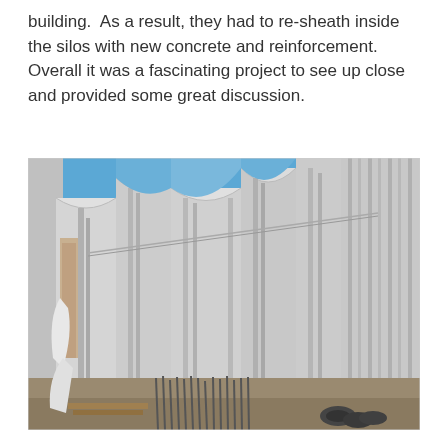building.  As a result, they had to re-sheath inside the silos with new concrete and reinforcement. Overall it was a fascinating project to see up close and provided some great discussion.
[Figure (photo): Interior view looking upward inside large concrete silos under construction or renovation. Tall curved concrete walls rise to the open sky, with formwork, rebar, scaffolding, and construction materials visible at the base. The sky is bright blue visible at the top.]